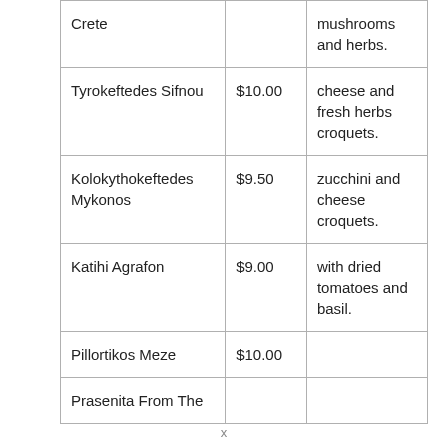| Crete |  | mushrooms and herbs. |
| Tyrokeftedes Sifnou | $10.00 | cheese and fresh herbs croquets. |
| Kolokythokeftedes Mykonos | $9.50 | zucchini and cheese croquets. |
| Katihi Agrafon | $9.00 | with dried tomatoes and basil. |
| Pillortikos Meze | $10.00 |  |
| Prasenita From The |  |  |